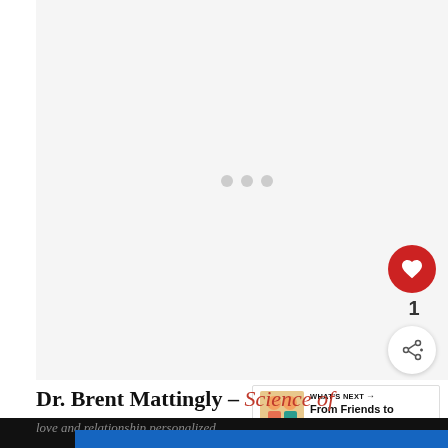[Figure (screenshot): Loading placeholder area with three gray dots in center, light gray background]
[Figure (screenshot): Red circular like button with heart icon, count of 1, and share button below]
[Figure (screenshot): What's Next panel with couple illustration and text 'From Friends to Lovers']
Dr. Brent Mattingly – Science of
[Figure (screenshot): Petco advertisement banner: Get Your Pet Ready For Summe / Petco]